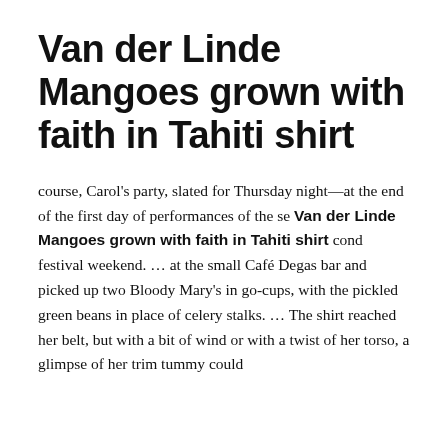Van der Linde Mangoes grown with faith in Tahiti shirt
course, Carol's party, slated for Thursday night—at the end of the first day of performances of the se Van der Linde Mangoes grown with faith in Tahiti shirt cond festival weekend. … at the small Café Degas bar and picked up two Bloody Mary's in go-cups, with the pickled green beans in place of celery stalks. … The shirt reached her belt, but with a bit of wind or with a twist of her torso, a glimpse of her trim tummy could